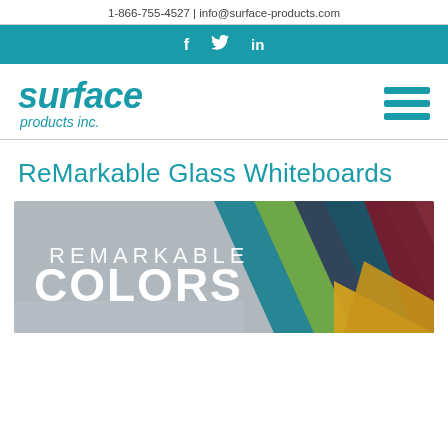1-866-755-4527 | info@surface-products.com
[Figure (other): Social media icons bar: Facebook (f), Twitter (bird), LinkedIn (in) on teal background]
[Figure (logo): Surface Products Inc. logo in teal italic text with hamburger menu icon]
ReMarkable Glass Whiteboards
[Figure (photo): Banner image showing colorful glass panels fanned out with text 'REMARKABLE COLORS' overlaid in white]